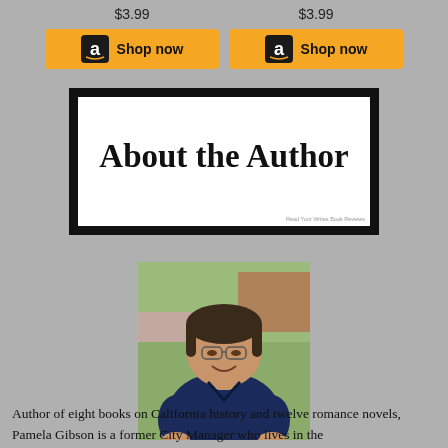[Figure (screenshot): Two Amazon 'Shop now' buttons side by side, each with a price of $3.99 above them and the Amazon logo on a gold/yellow button]
[Figure (illustration): A decorative banner with thick black border and white interior reading 'About the Author' in a handwritten/comic style font, with small watermark text 'Read Your Writes Book Reviews' in the bottom right corner]
[Figure (photo): Photograph of a middle-aged woman with short dark hair, wearing a dark navy blue top, seated outdoors with greenery in the background]
Author of eight books on California history and twelve romance novels, Pamela Gibson is a former City Manager who lives in the